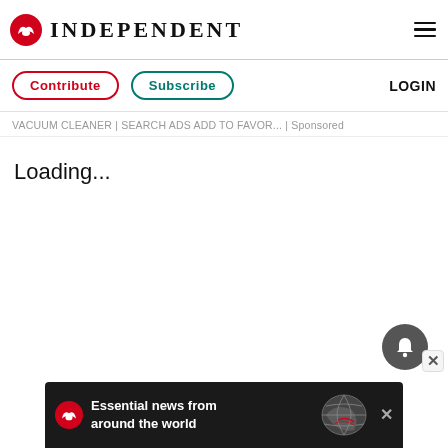INDEPENDENT
Contribute  Subscribe  LOGIN
VACUUM CLEANER | SEARCH ADS ADD TO FAVOR... | Sponsored
Loading...
Essential news from around the world